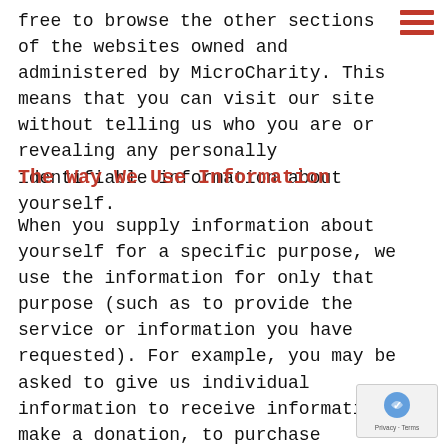free to browse the other sections of the websites owned and administered by MicroCharity. This means that you can visit our site without telling us who you are or revealing any personally identifiable information about yourself.
The Way We Use Information
When you supply information about yourself for a specific purpose, we use the information for only that purpose (such as to provide the service or information you have requested). For example, you may be asked to give us individual information to receive information, to make a donation, to purchase merchandise, or to apply for a job. Similarly, we use information you provide ab yourself or someone else when placing a